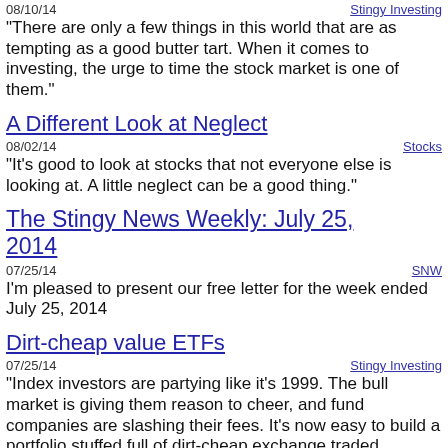08/10/14	Stingy Investing
"There are only a few things in this world that are as tempting as a good butter tart. When it comes to investing, the urge to time the stock market is one of them."
A Different Look at Neglect
08/02/14	Stocks
"It's good to look at stocks that not everyone else is looking at. A little neglect can be a good thing."
The Stingy News Weekly: July 25, 2014
07/25/14	SNW
I'm pleased to present our free letter for the week ended July 25, 2014
Dirt-cheap value ETFs
07/25/14	Stingy Investing
"Index investors are partying like it's 1999. The bull market is giving them reason to cheer, and fund companies are slashing their fees. It's now easy to build a portfolio stuffed full of dirt-cheap exchange traded